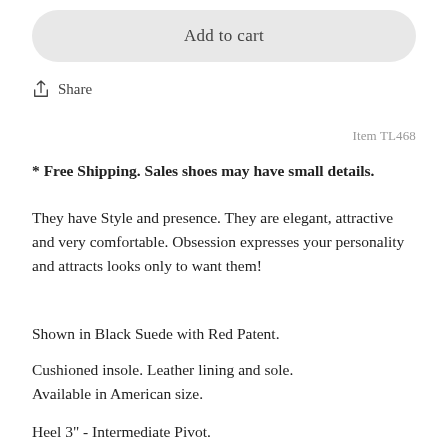Add to cart
Share
Item TL468
* Free Shipping. Sales shoes may have small details.
They have Style and presence. They are elegant, attractive and very comfortable. Obsession expresses your personality and attracts looks only to want them!
Shown in Black Suede with Red Patent.
Cushioned insole. Leather lining and sole. Available in American size.
Heel 3" - Intermediate Pivot.